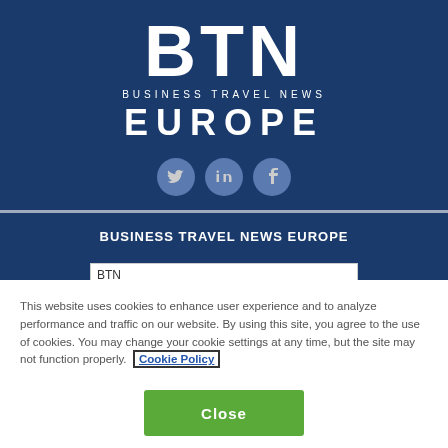[Figure (logo): BTN Business Travel News Europe logo with social media icons on dark blue background]
BUSINESS TRAVEL NEWS EUROPE
BTN
This website uses cookies to enhance user experience and to analyze performance and traffic on our website. By using this site, you agree to the use of cookies. You may change your cookie settings at any time, but the site may not function properly. Cookie Policy
Close